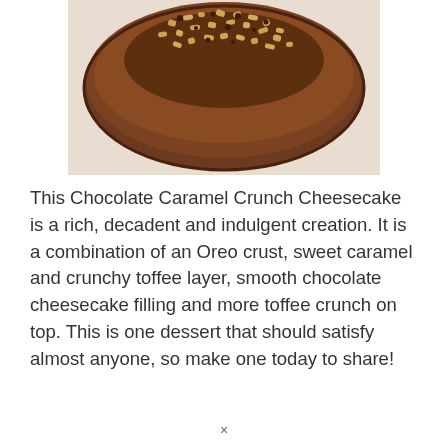[Figure (photo): A round chocolate caramel crunch cheesecake viewed from above, covered in chocolate ganache and topped with crushed toffee/nut pieces, on a light beige background.]
This Chocolate Caramel Crunch Cheesecake is a rich, decadent and indulgent creation. It is a combination of an Oreo crust, sweet caramel and crunchy toffee layer, smooth chocolate cheesecake filling and more toffee crunch on top. This is one dessert that should satisfy almost anyone, so make one today to share!